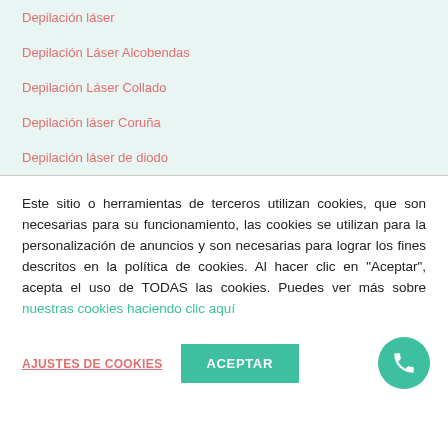Depilación láser
Depilación Láser Alcobendas
Depilación Láser Collado
Depilación láser Coruña
Depilación láser de diodo
Este sitio o herramientas de terceros utilizan cookies, que son necesarias para su funcionamiento, las cookies se utilizan para la personalización de anuncios y son necesarias para lograr los fines descritos en la política de cookies. Al hacer clic en "Aceptar", acepta el uso de TODAS las cookies. Puedes ver más sobre nuestras cookies haciendo clic aquí
AJUSTES DE COOKIES
ACEPTAR